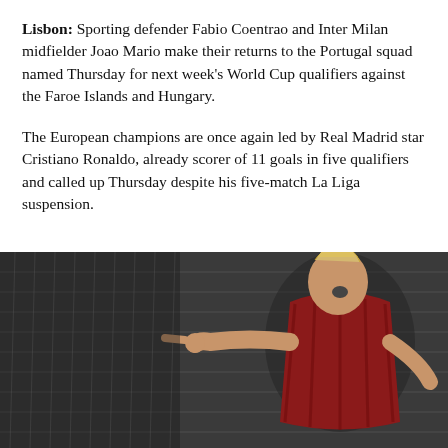Lisbon: Sporting defender Fabio Coentrao and Inter Milan midfielder Joao Mario make their returns to the Portugal squad named Thursday for next week's World Cup qualifiers against the Faroe Islands and Hungary.
The European champions are once again led by Real Madrid star Cristiano Ronaldo, already scorer of 11 goals in five qualifiers and called up Thursday despite his five-match La Liga suspension.
[Figure (photo): A soccer player in a red Portugal jersey pointing with his finger, standing in front of a goal net. The image is split into two panels — the left showing the player prominently, and the right showing just the goal net in the background with an orange/warm tone.]